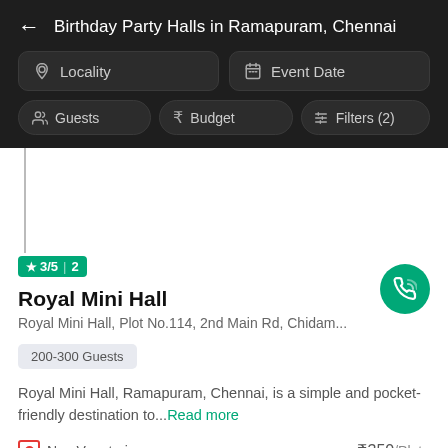Birthday Party Halls in Ramapuram, Chennai
Locality
Event Date
Guests
Budget
Filters (2)
★ 3/5 | 2
Royal Mini Hall
Royal Mini Hall, Plot No.114, 2nd Main Rd, Chidam...
200-300 Guests
Royal Mini Hall, Ramapuram, Chennai, is a simple and pocket-friendly destination to...Read more
Non Vegetarian  ₹350/Plate